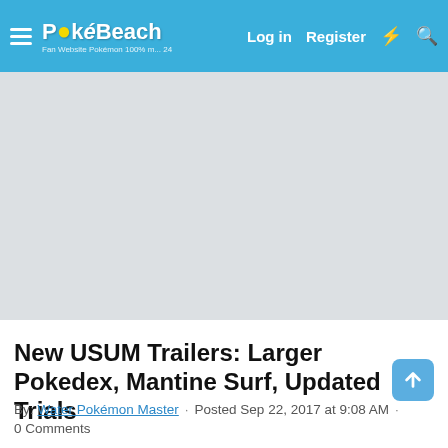PokéBeach · Log in · Register
[Figure (other): Gray advertisement/banner placeholder area]
New USUM Trailers: Larger Pokedex, Mantine Surf, Updated Trials
By: Water Pokémon Master · Posted Sep 22, 2017 at 9:08 AM · 0 Comments